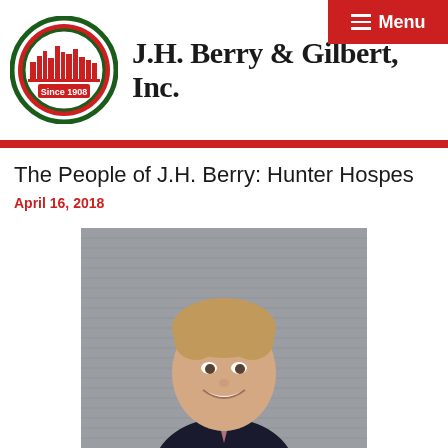[Figure (logo): J.H. Berry & Gilbert, Inc. company logo — circular emblem with city skyline silhouette and 'Since 1908' text, red and green colors, alongside company name in serif bold font]
The People of J.H. Berry: Hunter Hospes
April 16, 2018
[Figure (photo): Professional headshot of Hunter Hospes, a young man with light brown hair, smiling, wearing a dark suit and tie, against a gray corrugated metal background]